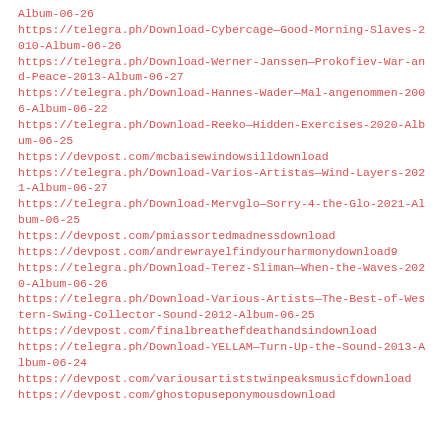Album-06-26
https://telegra.ph/Download-Cybercage—Good-Morning-Slaves-2010-Album-06-26
https://telegra.ph/Download-Werner-Janssen—Prokofiev-War-and-Peace-2013-Album-06-27
https://telegra.ph/Download-Hannes-Wader—Mal-angenommen-2006-Album-06-22
https://telegra.ph/Download-Reeko—Hidden-Exercises-2020-Album-06-25
https://devpost.com/mcbaisewindowsilldownload
https://telegra.ph/Download-Varios-Artistas—Wind-Layers-2021-Album-06-27
https://telegra.ph/Download-Mervglo—Sorry-4-the-Glo-2021-Album-06-25
https://devpost.com/pmiassortedmadnessdownload
https://devpost.com/andrewrayelfindyourharmonydownload9
https://telegra.ph/Download-Terez-Sliman—When-the-Waves-2020-Album-06-26
https://telegra.ph/Download-Various-Artists—The-Best-of-Western-Swing-Collector-Sound-2012-Album-06-25
https://devpost.com/finalbreathefdeathandsindownload
https://telegra.ph/Download-YELLAM—Turn-Up-the-Sound-2013-Album-06-24
https://devpost.com/variousartiststwinpeaksmusicfdownload
https://devpost.com/ghostopuseponymousdownload